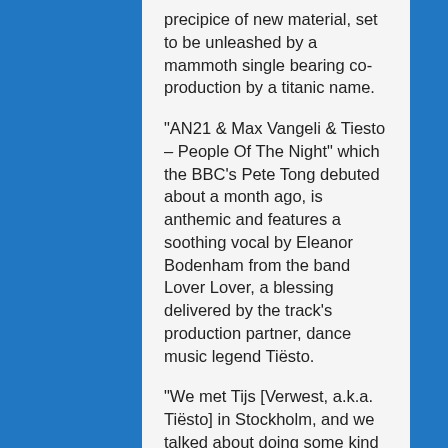precipice of new material, set to be unleashed by a mammoth single bearing co-production by a titanic name.
"AN21 & Max Vangeli & Tiesto – People Of The Night" which the BBC's Pete Tong debuted about a month ago, is anthemic and features a soothing vocal by Eleanor Bodenham from the band Lover Lover, a blessing delivered by the track's production partner, dance music legend Tiësto.
"We met Tijs [Verwest, a.k.a. Tiësto] in Stockholm, and we talked about doing some kind of